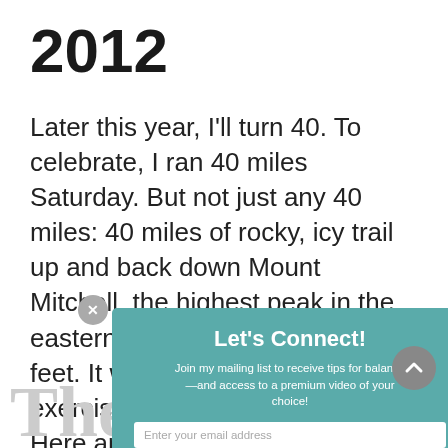2012
Later this year, I'll turn 40. To celebrate, I ran 40 miles Saturday. But not just any 40 miles: 40 miles of rocky, icy trail up and back down Mount Mitchell, the highest peak in the eastern United States at 6,684 feet. It was a long day of exercise, and it was very hard. Here are some thoughts for those who are considering doing this race in the future, or who, like my father, want to know "Why?!?"
[Figure (screenshot): Popup overlay with teal background: 'Let's Connect!' heading, subtitle 'Join my mailing list to receive tips for balance and access to a premium video of your choice!', email input field, and SUBSCRIBE! button. Close button (x) at top left.]
The Race